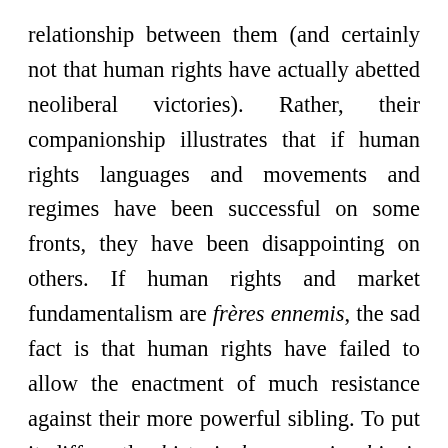relationship between them (and certainly not that human rights have actually abetted neoliberal victories). Rather, their companionship illustrates that if human rights languages and movements and regimes have been successful on some fronts, they have been disappointing on others. If human rights and market fundamentalism are frères ennemis, the sad fact is that human rights have failed to allow the enactment of much resistance against their more powerful sibling. To put it differently, historical companionship is bad